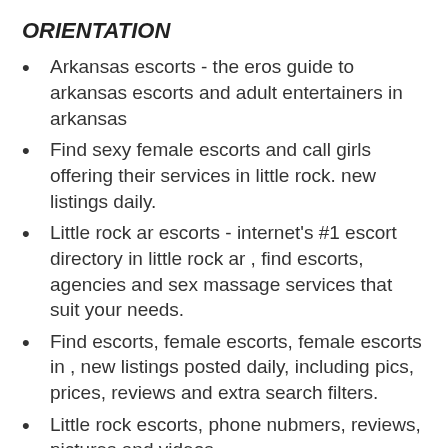ORIENTATION
Arkansas escorts - the eros guide to arkansas escorts and adult entertainers in arkansas
Find sexy female escorts and call girls offering their services in little rock. new listings daily.
Little rock ar escorts - internet's #1 escort directory in little rock ar , find escorts, agencies and sex massage services that suit your needs.
Find escorts, female escorts, female escorts in , new listings posted daily, including pics, prices, reviews and extra search filters.
Little rock escorts, phone nubmers, reviews, pictures and videos
Female escorts in arkansas on onebackpage.com,
Search adult classified listings in little rock including escorts, massage, body rub and fetish